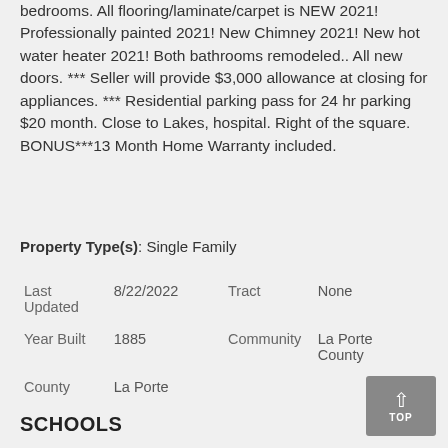bedrooms. All flooring/laminate/carpet is NEW 2021! Professionally painted 2021! New Chimney 2021! New hot water heater 2021! Both bathrooms remodeled.. All new doors. *** Seller will provide $3,000 allowance at closing for appliances. *** Residential parking pass for 24 hr parking $20 month. Close to Lakes, hospital. Right of the square. BONUS***13 Month Home Warranty included.
Property Type(s): Single Family
| Last Updated | 8/22/2022 | Tract | None |
| Year Built | 1885 | Community | La Porte County |
| County | La Porte |  |  |
SCHOOLS